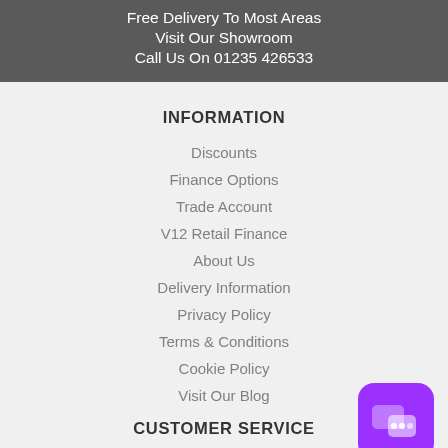Free Delivery To Most Areas
Visit Our Showroom
Call Us On 01235 426533
INFORMATION
Discounts
Finance Options
Trade Account
V12 Retail Finance
About Us
Delivery Information
Privacy Policy
Terms & Conditions
Cookie Policy
Visit Our Blog
CUSTOMER SERVICE
Contact Us
[Figure (illustration): Purple rounded square chat/messaging button in bottom right corner]